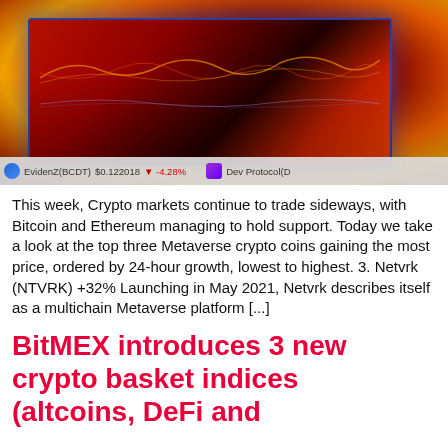[Figure (photo): Blurred photo of a computer monitor glowing red/orange with colorful waveform lines on screen, dark background with warm lighting]
This week, Crypto markets continue to trade sideways, with Bitcoin and Ethereum managing to hold support. Today we take a look at the top three Metaverse crypto coins gaining the most price, ordered by 24-hour growth, lowest to highest. 3. Netvrk (NTVRK) +32% Launching in May 2021, Netvrk describes itself as a multichain Metaverse platform [...]
BitMEX introduces 3 new crypto basket indices (altcoins, DeFi and
EvidenZ(BCDT)  $0.122018  -4.28%    Dev Protocol(D